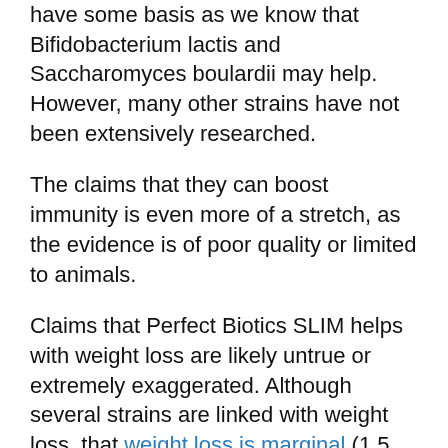have some basis as we know that Bifidobacterium lactis and Saccharomyces boulardii may help. However, many other strains have not been extensively researched.
The claims that they can boost immunity is even more of a stretch, as the evidence is of poor quality or limited to animals.
Claims that Perfect Biotics SLIM helps with weight loss are likely untrue or extremely exaggerated. Although several strains are linked with weight loss, that weight loss is marginal (1.5 kg) over 6 months and therefore clinically insignificant. The fundamental principle of weight loss comes down to energy in vs. energy out, so that should be your main focus.